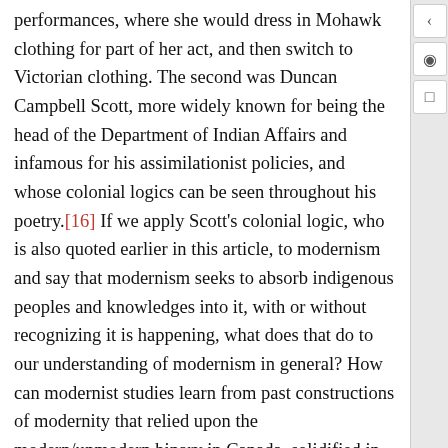performances, where she would dress in Mohawk clothing for part of her act, and then switch to Victorian clothing. The second was Duncan Campbell Scott, more widely known for being the head of the Department of Indian Affairs and infamous for his assimilationist policies, and whose colonial logics can be seen throughout his poetry.[16] If we apply Scott's colonial logic, who is also quoted earlier in this article, to modernism and say that modernism seeks to absorb indigenous peoples and knowledges into it, with or without recognizing it is happening, what does that do to our understanding of modernism in general? How can modernist studies learn from past constructions of modernity that relied upon the modern/unmodern binary in Canada, solidified in the Indian Act, in order to redefine modernities and decenter whiteness? There are endless possibilities for directions for work that can be done that looks critically at how whiteness has